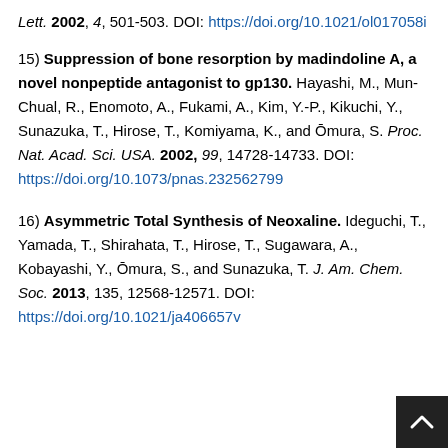Lett. 2002, 4, 501-503. DOI: https://doi.org/10.1021/ol017058i
15) Suppression of bone resorption by madindoline A, a novel nonpeptide antagonist to gp130. Hayashi, M., Mun-Chual, R., Enomoto, A., Fukami, A., Kim, Y.-P., Kikuchi, Y., Sunazuka, T., Hirose, T., Komiyama, K., and Ōmura, S. Proc. Nat. Acad. Sci. USA. 2002, 99, 14728-14733. DOI: https://doi.org/10.1073/pnas.232562799
16) Asymmetric Total Synthesis of Neoxaline. Ideguchi, T., Yamada, T., Shirahata, T., Hirose, T., Sugawara, A., Kobayashi, Y., Ōmura, S., and Sunazuka, T. J. Am. Chem. Soc. 2013, 135, 12568-12571. DOI: https://doi.org/10.1021/ja406657v